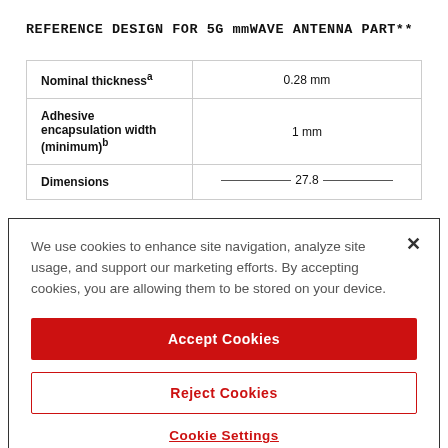REFERENCE DESIGN FOR 5G mmWAVE ANTENNA PART**
| Property | Value |
| --- | --- |
| Nominal thicknessᵃ | 0.28 mm |
| Adhesive encapsulation width (minimum)ᵇ | 1 mm |
| Dimensions | 27.8 |
We use cookies to enhance site navigation, analyze site usage, and support our marketing efforts. By accepting cookies, you are allowing them to be stored on your device.
Accept Cookies
Reject Cookies
Cookie Settings